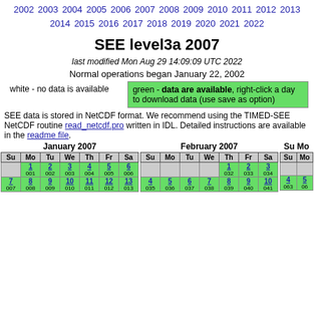2002 2003 2004 2005 2006 2007 2008 2009 2010 2011 2012 2013 2014 2015 2016 2017 2018 2019 2020 2021 2022
SEE level3a 2007
last modified Mon Aug 29 14:09:09 UTC 2022
Normal operations began January 22, 2002
white - no data is available
green - data are available, right-click a day to download data (use save as option)
SEE data is stored in NetCDF format. We recommend using the TIMED-SEE NetCDF routine read_netcdf.pro written in IDL. Detailed instructions are available in the readme file.
| Su | Mo | Tu | We | Th | Fr | Sa |
| --- | --- | --- | --- | --- | --- | --- |
|  | 1
001 | 2
002 | 3
003 | 4
004 | 5
005 | 6
006 |
| 7
007 | 8
008 | 9
009 | 10
010 | 11
011 | 12
012 | 13
013 |
January 2007
| Su | Mo | Tu | We | Th | Fr | Sa |
| --- | --- | --- | --- | --- | --- | --- |
|  |  |  |  | 1
032 | 2
033 | 3
034 |
| 4
035 | 5
036 | 6
037 | 7
038 | 8
039 | 9
040 | 10
041 |
February 2007